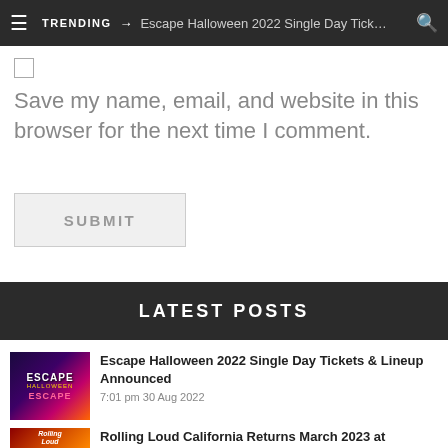TRENDING → Escape Halloween 2022 Single Day Tick…
Save my name, email, and website in this browser for the next time I comment.
SUBMIT
LATEST POSTS
Escape Halloween 2022 Single Day Tickets & Lineup Announced
7:01 pm 30 Aug 2022
Rolling Loud California Returns March 2023 at Hollywood Park